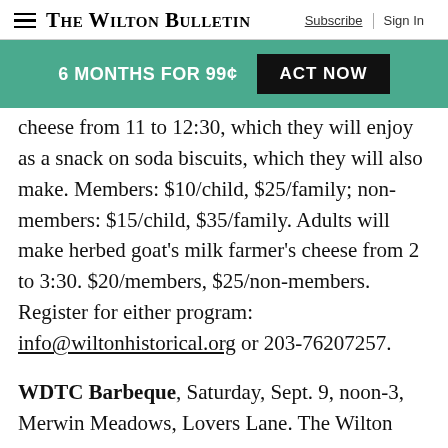The Wilton Bulletin | Subscribe | Sign In
[Figure (infographic): Promotional banner: 6 MONTHS FOR 99¢ with ACT NOW button on teal background]
cheese from 11 to 12:30, which they will enjoy as a snack on soda biscuits, which they will also make. Members: $10/child, $25/family; non-members: $15/child, $35/family. Adults will make herbed goat's milk farmer's cheese from 2 to 3:30. $20/members, $25/non-members. Register for either program: info@wiltonhistorical.org or 203-76207257.
WDTC Barbeque, Saturday, Sept. 9, noon-3, Merwin Meadows, Lovers Lane. The Wilton